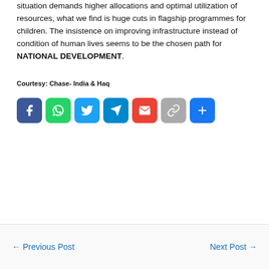situation demands higher allocations and optimal utilization of resources, what we find is huge cuts in flagship programmes for children. The insistence on improving infrastructure instead of condition of human lives seems to be the chosen path for NATIONAL DEVELOPMENT.
Courtesy: Chase- India & Haq
[Figure (other): Social sharing icons: Facebook, WhatsApp, Twitter, Telegram, Gmail, Copy link, Share]
← Previous Post   Next Post →